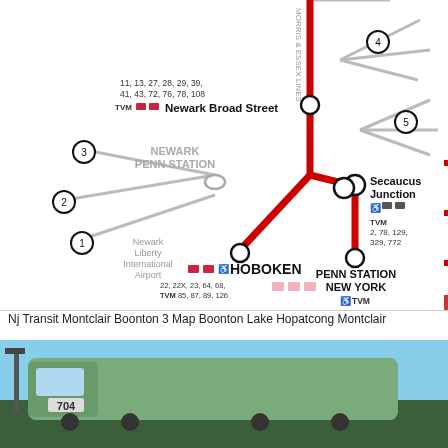[Figure (map): NJ Transit Montclair-Boonton line map showing stations including Newark Broad Street, Newark Penn Station, Newark Liberty International Airport, Hoboken, Secaucus Junction, and Penn Station New York, with bus route numbers and service icons. Red lines show active routes, gray lines show connecting lines.]
Nj Transit Montclair Boonton 3 Map Boonton Lake Hopatcong Montclair
[Figure (photo): Photograph of a NJ Transit train locomotive numbered 704, green/silver livery, taken from a low angle against a blue sky background.]